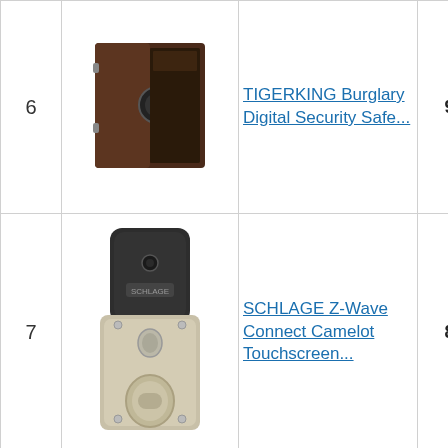| # | Image | Product | Score | Buy |
| --- | --- | --- | --- | --- |
| 6 | [safe image] | TIGERKING Burglary Digital Security Safe... | 9.00 | Bu... Am... |
| 7 | [lock image] | SCHLAGE Z-Wave Connect Camelot Touchscreen... | 8.50 | Bu... Am... |
|  | [partial] |  |  |  |